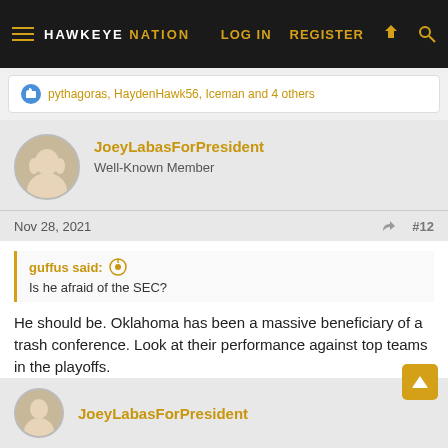HAWKEYE NATION — LOG IN  REGISTER
pythagoras, HaydenHawk56, Iceman and 4 others
JoeyLabasForPresident
Well-Known Member
Nov 28, 2021  #12
guffus said:
Is he afraid of the SEC?
He should be. Oklahoma has been a massive beneficiary of a trash conference. Look at their performance against top teams in the playoffs.
HaydenHawk56 and SmokeTownHawk
JoeyLabasForPresident